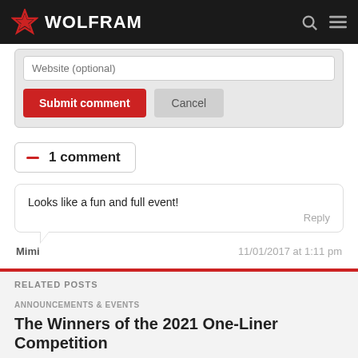WOLFRAM
Website (optional)
Submit comment | Cancel
— 1 comment
Looks like a fun and full event!
Reply
Mimi | 11/01/2017 at 1:11 pm
RELATED POSTS
ANNOUNCEMENTS & EVENTS
The Winners of the 2021 One-Liner Competition